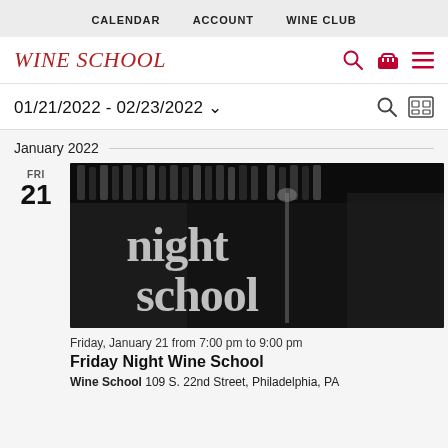CALENDAR   ACCOUNT   WINE CLUB
WINE SCHOOL
01/21/2022 - 02/23/2022
January 2022
[Figure (photo): Black and white 'night school' event promotional image showing people in a bar/lounge setting with 'night school' text overlaid in large white serif letters]
Friday, January 21 from 7:00 pm to 9:00 pm
Friday Night Wine School
Wine School 109 S. 22nd Street, Philadelphia, PA